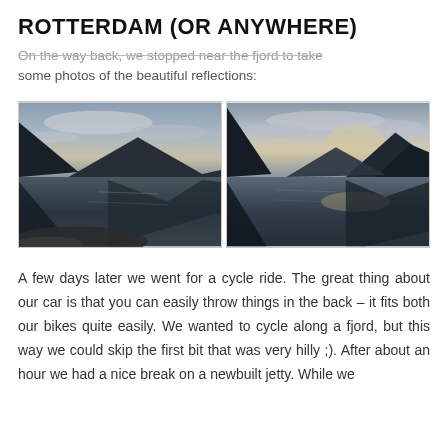ROTTERDAM (OR ANYWHERE)
On the way back, we stopped near the fjord to take some photos of the beautiful reflections:
[Figure (photo): Two side-by-side landscape photos of a fjord with mountain reflections on calm water at dusk/dawn. Left photo shows rocky foreground with mountains and cloudy sky reflecting in still water. Right photo shows similar fjord scene with mountains and sky reflections.]
A few days later we went for a cycle ride. The great thing about our car is that you can easily throw things in the back – it fits both our bikes quite easily. We wanted to cycle along a fjord, but this way we could skip the first bit that was very hilly ;). After about an hour we had a nice break on a newbuilt jetty. While we